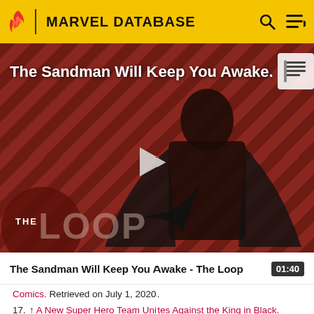MARVEL DATABASE
[Figure (screenshot): Video thumbnail for 'The Sandman Will Keep You Awake - The Loop' showing a figure in black cape against red diagonal striped background with THE LOOP watermark and a play button in the center]
The Sandman Will Keep You Awake - The Loop  01:40
Comics. Retrieved on July 1, 2020.
17. ↑ A New Super Hero Team Unites Against the King in Black. Marvel.com (September 16, 2020). Retrieved on September 16, 2020.